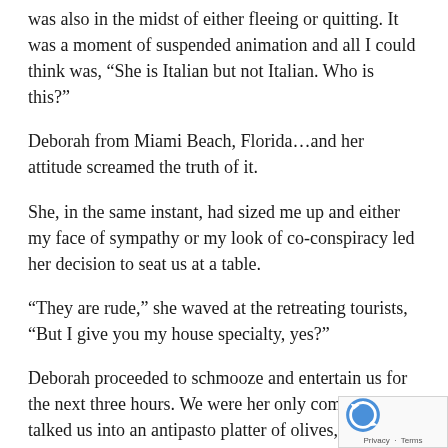was also in the midst of either fleeing or quitting. It was a moment of suspended animation and all I could think was, “She is Italian but not Italian. Who is this?”
Deborah from Miami Beach, Florida…and her attitude screamed the truth of it.
She, in the same instant, had sized me up and either my face of sympathy or my look of co-conspiracy led her decision to seat us at a table.
“They are rude,” she waved at the retreating tourists, “But I give you my house specialty, yes?”
Deborah proceeded to schmooze and entertain us for the next three hours. We were her only company. She talked us into an antipasto platter of olives, cheese, jam, onion jam, greens, and oh glory be, it was yumm